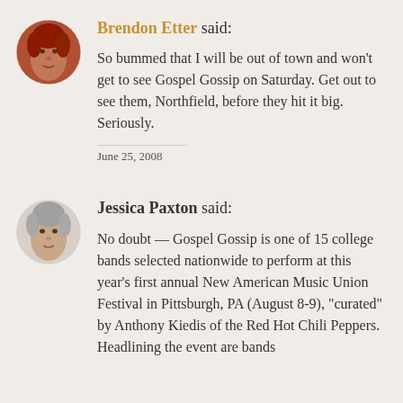[Figure (photo): Circular avatar photo of Brendon Etter, a person with reddish hair]
Brendon Etter said:
So bummed that I will be out of town and won't get to see Gospel Gossip on Saturday. Get out to see them, Northfield, before they hit it big. Seriously.
June 25, 2008
[Figure (photo): Circular avatar photo of Jessica Paxton, a woman with short gray hair]
Jessica Paxton said:
No doubt — Gospel Gossip is one of 15 college bands selected nationwide to perform at this year's first annual New American Music Union Festival in Pittsburgh, PA (August 8-9), "curated" by Anthony Kiedis of the Red Hot Chili Peppers. Headlining the event are bands